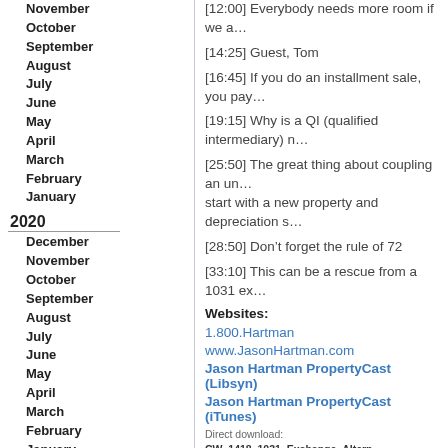November
October
September
August
July
June
May
April
March
February
January
2020
December
November
October
September
August
July
June
May
April
March
February
January
2019
December
November
October
September
August
[12:00] Everybody needs more room if we a…
[14:25] Guest, Tom
[16:45] If you do an installment sale, you pay…
[19:15] Why is a QI (qualified intermediary) n…
[25:50] The great thing about coupling an un… start with a new property and depreciation s…
[28:50] Don't forget the rule of 72
[33:10] This can be a rescue from a 1031 ex…
Websites:
1.800.Hartman
www.JasonHartman.com
Jason Hartman PropertyCast (Libsyn)
Jason Hartman PropertyCast (iTunes)
Direct download: CW_1418_1031_Exchange_Altern… Category: general -- posted at: 5:00pm EDT